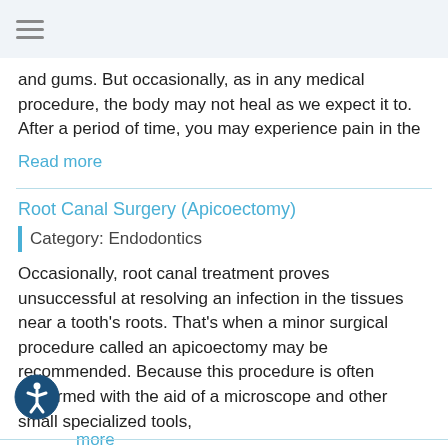≡
and gums. But occasionally, as in any medical procedure, the body may not heal as we expect it to. After a period of time, you may experience pain in the
Read more
Root Canal Surgery (Apicoectomy)
Category: Endodontics
Occasionally, root canal treatment proves unsuccessful at resolving an infection in the tissues near a tooth's roots. That's when a minor surgical procedure called an apicoectomy may be recommended. Because this procedure is often performed with the aid of a microscope and other small specialized tools,
more